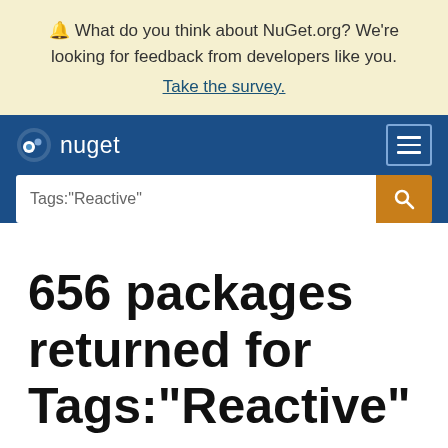🔔 What do you think about NuGet.org? We're looking for feedback from developers like you. Take the survey.
nuget — navigation bar with search: Tags:"Reactive"
656 packages returned for Tags:"Reactive"